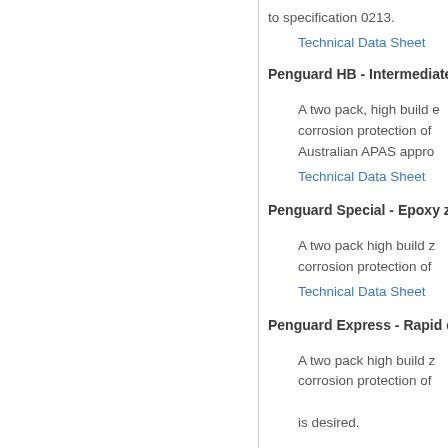to specification 0213.
Technical Data Sheet
Penguard HB - Intermediate epoxy
A two pack, high build e corrosion protection of Australian APAS appro
Technical Data Sheet
Penguard Special - Epoxy zinc pho
A two pack high build z corrosion protection of
Technical Data Sheet
Penguard Express - Rapid cure ep
A two pack high build z corrosion protection of is desired.